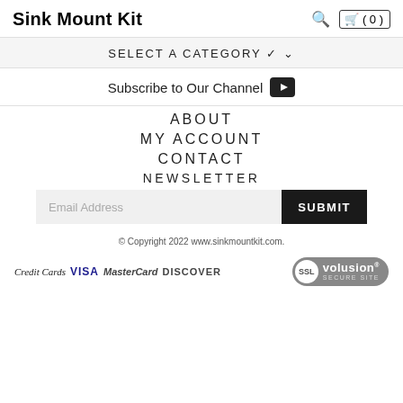Sink Mount Kit
SELECT A CATEGORY ▾
Subscribe to Our Channel ▶
ABOUT
MY ACCOUNT
CONTACT
NEWSLETTER
Email Address
SUBMIT
© Copyright 2022 www.sinkmountkit.com.
Credit Cards VISA MasterCard DISCOVER SSL volusion SECURE SITE